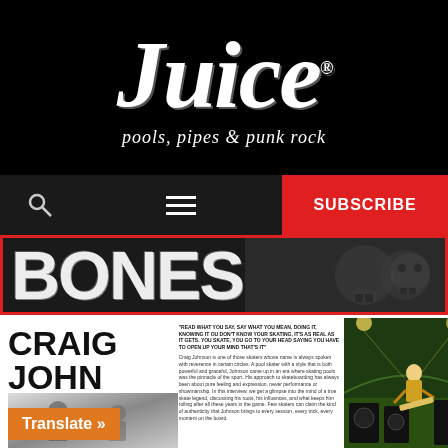JUICE® pools, pipes & punk rock
[Figure (logo): JUICE magazine logo in white italic script on black background with tagline 'pools, pipes & punk rock']
[Figure (screenshot): Navigation bar with search icon, hamburger menu, and red SUBSCRIBE button]
[Figure (illustration): BONES brand banner with large distressed white text on dark background with red border]
[Figure (photo): Craig Johnson article preview showing title, byline by 'Em Murphy', article text, black and white photo thumbnail, orange Translate button, and a skateboarder action photo]
CRAIG JOHNSON - AN ORIGINAL & INTERVIEW BY EM MURPHY
Translate »